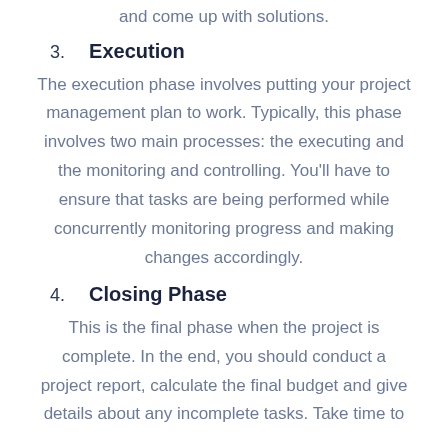and come up with solutions.
3. Execution
The execution phase involves putting your project management plan to work. Typically, this phase involves two main processes: the executing and the monitoring and controlling. You'll have to ensure that tasks are being performed while concurrently monitoring progress and making changes accordingly.
4. Closing Phase
This is the final phase when the project is complete. In the end, you should conduct a project report, calculate the final budget and give details about any incomplete tasks. Take time to